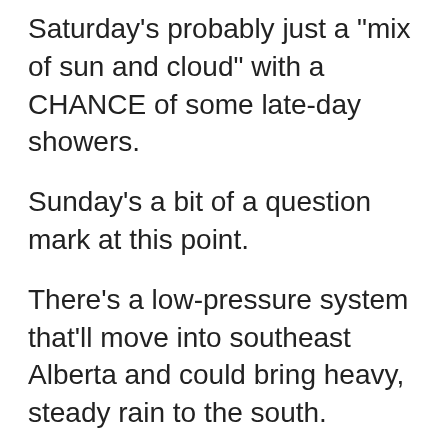Saturday's probably just a "mix of sun and cloud" with a CHANCE of some late-day showers.
Sunday's a bit of a question mark at this point.
There's a low-pressure system that'll move into southeast Alberta and could bring heavy, steady rain to the south.
How far north does that rain stretch and what's the timing?
Those are the two main questions at this point.
Once scenario has the rain all staying in southern and western Alberta Sunday/Monday.
Another scenario brings that into the Edmonton...